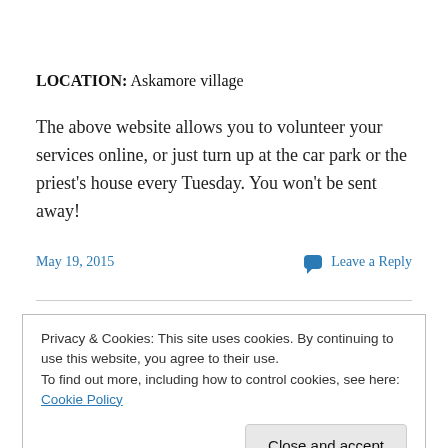LOCATION: Askamore village
The above website allows you to volunteer your services online, or just turn up at the car park or the priest's house every Tuesday. You won't be sent away!
May 19, 2015
Leave a Reply
Privacy & Cookies: This site uses cookies. By continuing to use this website, you agree to their use.
To find out more, including how to control cookies, see here: Cookie Policy
Close and accept